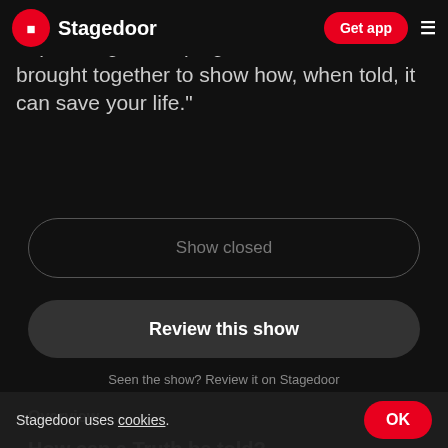"Honest and provocative but never depressing, three poignant narratives are brought together to show how, when told, it can save your life."
Stagedoor | Get app
Show closed
Review this show
Seen the show? Review it on Stagedoor
Overview
How can a Truth be told?
How can a Secret b…
Stagedoor uses cookies. OK